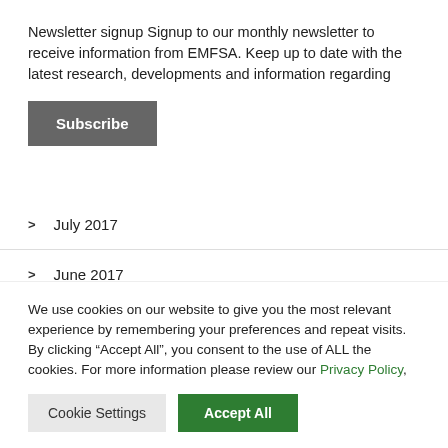Newsletter signup Signup to our monthly newsletter to receive information from EMFSA. Keep up to date with the latest research, developments and information regarding
Subscribe
July 2017
June 2017
May 2017
We use cookies on our website to give you the most relevant experience by remembering your preferences and repeat visits. By clicking “Accept All”, you consent to the use of ALL the cookies. For more information please review our Privacy Policy,
Cookie Settings
Accept All